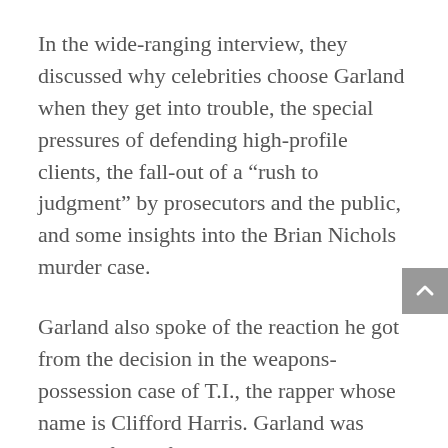In the wide-ranging interview, they discussed why celebrities choose Garland when they get into trouble, the special pressures of defending high-profile clients, the fall-out of a “rush to judgment” by prosecutors and the public, and some insights into the Brian Nichols murder case.
Garland also spoke of the reaction he got from the decision in the weapons-possession case of T.I., the rapper whose name is Clifford Harris. Garland was praised for crafting the sentence that utilized T.I.’s unique ability to deliver a positive message to troubled youth. T.I. served a short sentence in jail but spent a much longer time in a public crusade against teen violence. (Georgia public television is currently